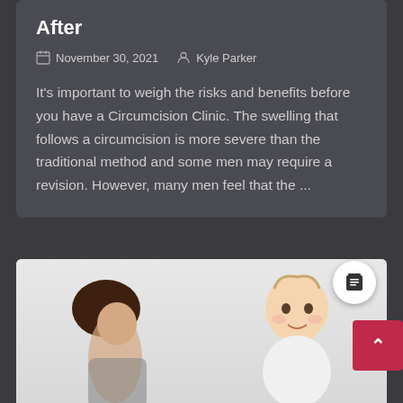After
November 30, 2021   Kyle Parker
It's important to weigh the risks and benefits before you have a Circumcision Clinic. The swelling that follows a circumcision is more severe than the traditional method and some men may require a revision. However, many men feel that the ...
[Figure (photo): Photo of a mother and baby on white background, partially visible at bottom of page]